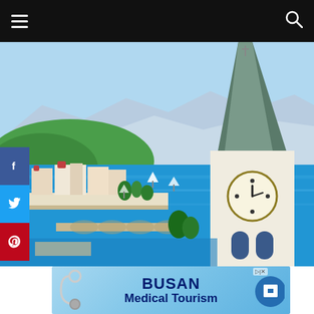Navigation bar with hamburger menu and search icon
[Figure (illustration): Vintage travel poster illustration of Zurich, Switzerland showing a church steeple with clock in the foreground, a lake with sailboats, a bridge, waterfront promenade with buildings, and mountains and hills in the background under a blue sky.]
[Figure (infographic): Advertisement banner for BUSAN Medical Tourism on a light blue background with stethoscope and medical cross icon graphics. Text reads 'BUSAN Medical Tourism' in dark navy bold font.]